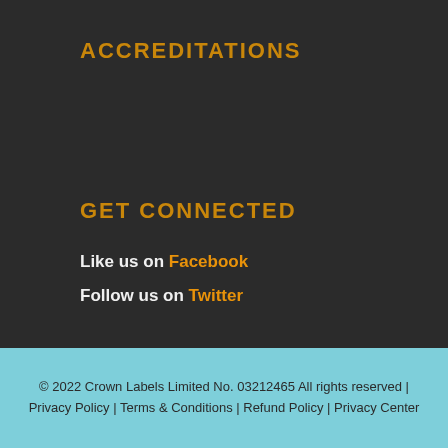ACCREDITATIONS
GET CONNECTED
Like us on Facebook
Follow us on Twitter
© 2022 Crown Labels Limited No. 03212465 All rights reserved | Privacy Policy | Terms & Conditions | Refund Policy | Privacy Center